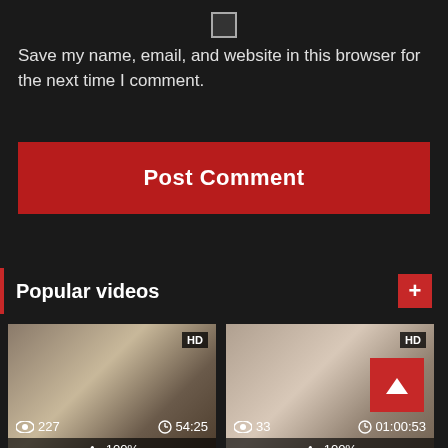[Figure (other): Checkbox input (unchecked square)]
Save my name, email, and website in this browser for the next time I comment.
[Figure (other): Post Comment button (red background)]
Popular videos
[Figure (other): Video thumbnail 1: HD badge, 227 views, duration 54:25, 100% likes]
[Figure (other): Video thumbnail 2: HD badge, 33 views, duration 01:00:53, 100% likes]